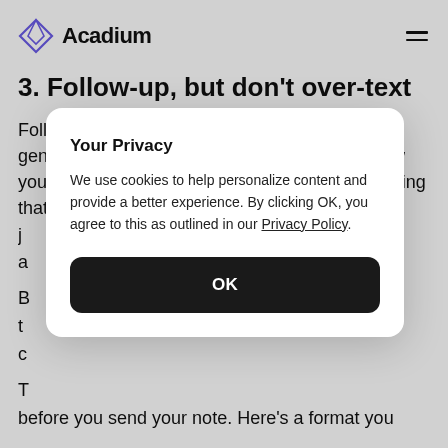Acadium
3. Follow-up, but don't over-text
Following up after your interview is a must in general. That way, you'll receive updates on how your application is progressing, and you're showing that you're highly motivated to get the j a
B t c
T before you send your note. Here's a format you
Your Privacy

We use cookies to help personalize content and provide a better experience. By clicking OK, you agree to this as outlined in our Privacy Policy.

OK